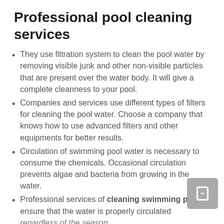Professional pool cleaning services
They use filtration system to clean the pool water by removing visible junk and other non-visible particles that are present over the water body. It will give a complete cleanness to your pool.
Companies and services use different types of filters for cleaning the pool water. Choose a company that knows how to use advanced filters and other equipments for better results.
Circulation of swimming pool water is necessary to consume the chemicals. Occasional circulation prevents algae and bacteria from growing in the water.
Professional services of cleaning swimming pool ensure that the water is properly circulated regardless of the season.